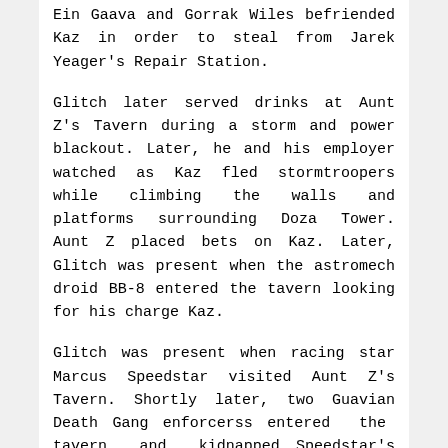Ein Gaava and Gorrak Wiles befriended Kaz in order to steal from Jarek Yeager's Repair Station.
Glitch later served drinks at Aunt Z's Tavern during a storm and power blackout. Later, he and his employer watched as Kaz fled stormtroopers while climbing the walls and platforms surrounding Doza Tower. Aunt Z placed bets on Kaz. Later, Glitch was present when the astromech droid BB-8 entered the tavern looking for his charge Kaz.
Glitch was present when racing star Marcus Speedstar visited Aunt Z's Tavern. Shortly later, two Guavian Death Gang enforcerss entered the tavern and kidnapped Speedstar's friend Oplock in order to force Speedstar to pay up his debts. When Yeager tried to force Speedstar out of the race, Speedstar refused to quit since he wanted to